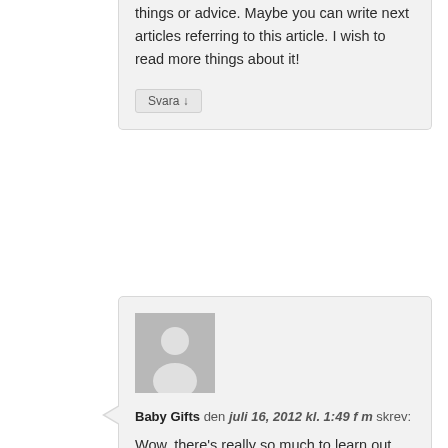things or advice. Maybe you can write next articles referring to this article. I wish to read more things about it!
Svara ↓
[Figure (illustration): Default grey avatar placeholder image showing a silhouette of a person]
Baby Gifts den juli 16, 2012 kl. 1:49 f m skrev:
Wow, there's really so much to learn out there and one can get overwhelmed but when you know where to focus, it's really all worth your time. Enjoyed your post!
Svara ↓